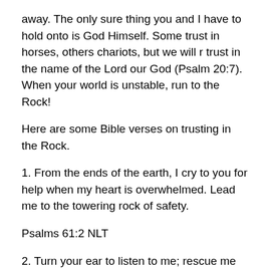away. The only sure thing you and I have to hold onto is God Himself. Some trust in horses, others chariots, but we will r trust in the name of the Lord our God (Psalm 20:7). When your world is unstable, run to the Rock!
Here are some Bible verses on trusting in the Rock.
1. From the ends of the earth, I cry to you for help when my heart is overwhelmed. Lead me to the towering rock of safety.
Psalms 61:2 NLT
2. Turn your ear to listen to me; rescue me quickly. Be my rock of protection, a fortress where I will be safe.
Psalms 31:2 NLT
3. On God my salvation and my glory rest; He is my rock